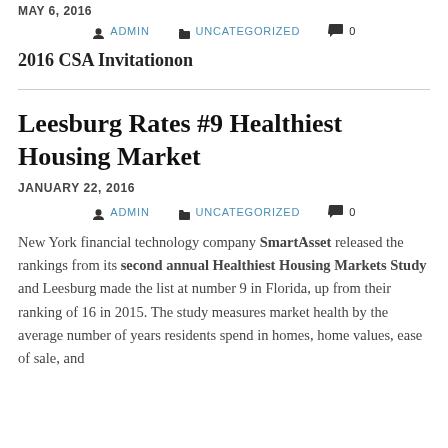MAY 6, 2016
ADMIN   UNCATEGORIZED   0
2016 CSA Invitationon
Leesburg Rates #9 Healthiest Housing Market
JANUARY 22, 2016
ADMIN   UNCATEGORIZED   0
New York financial technology company SmartAsset released the rankings from its second annual Healthiest Housing Markets Study and Leesburg made the list at number 9 in Florida, up from their ranking of 16 in 2015. The study measures market health by the average number of years residents spend in homes, home values, ease of sale, and